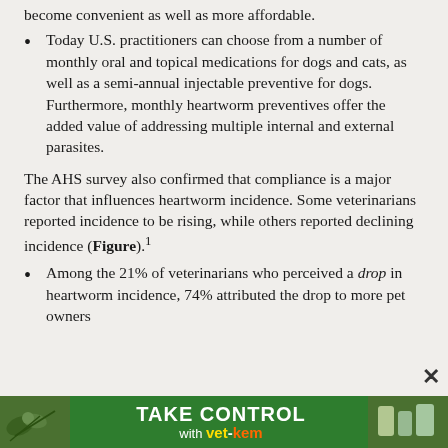become convenient as well as more affordable.
Today U.S. practitioners can choose from a number of monthly oral and topical medications for dogs and cats, as well as a semi-annual injectable preventive for dogs. Furthermore, monthly heartworm preventives offer the added value of addressing multiple internal and external parasites.
The AHS survey also confirmed that compliance is a major factor that influences heartworm incidence. Some veterinarians reported incidence to be rising, while others reported declining incidence (Figure).1
Among the 21% of veterinarians who perceived a drop in heartworm incidence, 74% attributed the drop to more pet owners
[Figure (infographic): Green banner advertisement reading TAKE CONTROL with vet-kem logo, with insect imagery on the left and product imagery on the right. Close X button visible.]